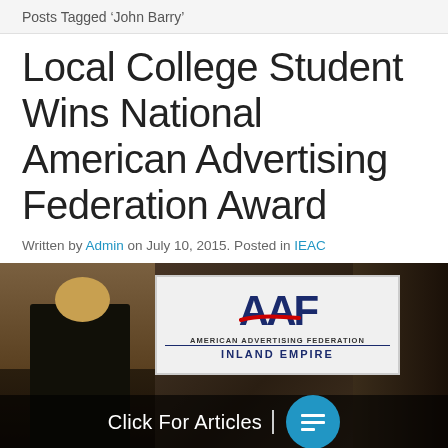Posts Tagged ‘John Barry’
Local College Student Wins National American Advertising Federation Award
Written by Admin on July 10, 2015. Posted in IEAC
[Figure (photo): Photo of people at an American Advertising Federation Inland Empire event, showing an AAF sign. An overlay reads 'Click For Articles' with a blue circle icon containing lines.]